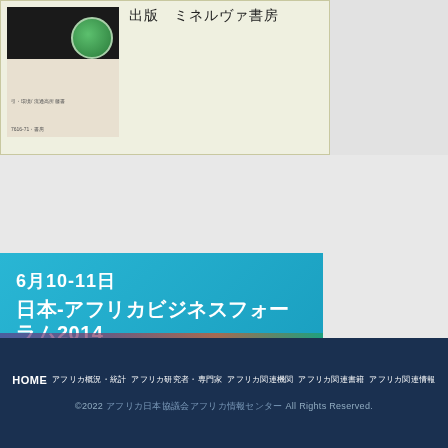[Figure (photo): Book cover image with dark top background, globe icon, and text below]
出版　ミネルヴァ書房
[Figure (infographic): Blue banner for Japan-Africa Business Forum 2014, June 10-11, with colorful image strip at bottom]
6月10-11日
日本-アフリカビジネスフォーラム2014
HOME　アフリカ概況・統計　アフリカ研究者・専門家　アフリカ関連機関　アフリカ関連書籍　アフリカ関連情報
©2022 アフリカ日本協議会アフリカ情報センター All Rights Reserved.